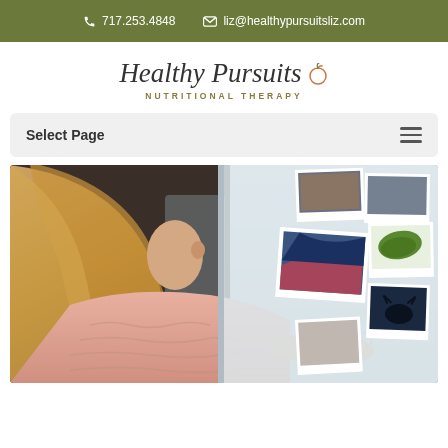📞 717.253.4848  ✉ liz@healthypursuitsliz.com
[Figure (logo): Healthy Pursuits Nutritional Therapy logo with script text and orange circle icon]
Select Page
[Figure (photo): Woman with long blonde hair in a pink knit sweater looking at a refrigerator door covered with polaroid photos and pictures of plants and animals]